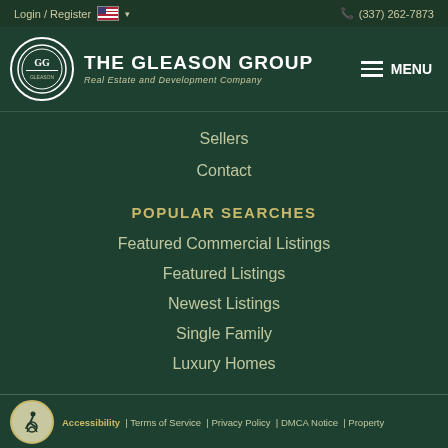Login / Register   🇺🇸 ▾   (337) 262-7873
[Figure (logo): The Gleason Group logo — circular GG emblem with THE GLEASON GROUP text and tagline 'Real Estate and Development Company']
Sellers
Contact
POPULAR SEARCHES
Featured Commercial Listings
Featured Listings
Newest Listings
Single Family
Luxury Homes
Accessibility | Terms of Service | Privacy Policy | DMCA Notice | Property